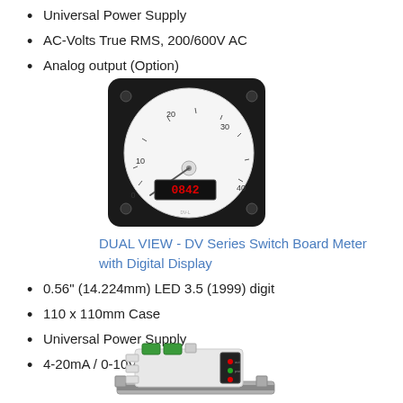Universal Power Supply
AC-Volts True RMS, 200/600V AC
Analog output (Option)
[Figure (photo): DUAL VIEW DV Series Switch Board Meter with analog dial face showing scale 0-40, digital LED display showing reading 0842, housed in black square panel case]
DUAL VIEW - DV Series Switch Board Meter with Digital Display
0.56" (14.224mm) LED 3.5 (1999) digit
110 x 110mm Case
Universal Power Supply
4-20mA / 0-10V
[Figure (photo): DIN rail mounted device with white housing, green terminal blocks on top, and small digital display panel on the side with LED indicators]